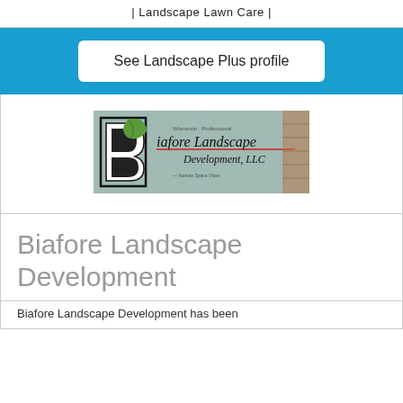| Landscape Lawn Care |
See Landscape Plus profile
[Figure (logo): Biafore Landscape Development LLC logo with a stylized B letter and leaf design over a blueprint background]
Biafore Landscape Development
Biafore Landscape Development has been